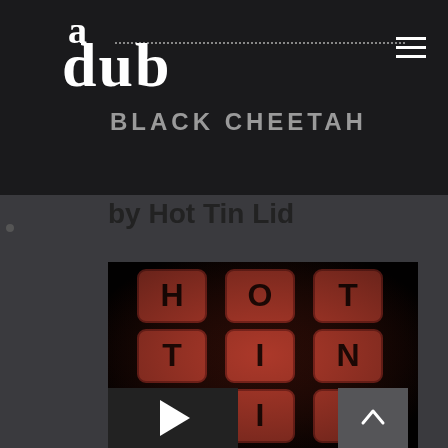a dub
BLACK CHEETAH
by Hot Tin Lid
[Figure (photo): Album cover for Hot Tin Lid showing letter tiles spelling HOT TIN LID in a 3x3 grid on a dark red background]
[Figure (other): Play button control at bottom left of album art]